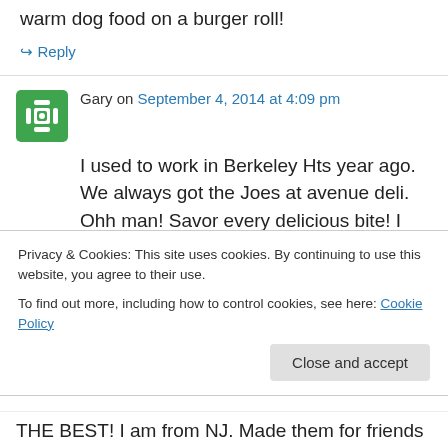warm dog food on a burger roll!
↪ Reply
Gary on September 4, 2014 at 4:09 pm
I used to work in Berkeley Hts year ago. We always got the Joes at avenue deli. Ohh man! Savor every delicious bite! I never had them anywhere else but if people are saying the AD’s are only “decent”, Id love to try one at the other places mentioned.
Privacy & Cookies: This site uses cookies. By continuing to use this website, you agree to their use.
To find out more, including how to control cookies, see here: Cookie Policy
Close and accept
THE BEST! I am from NJ. Made them for friends